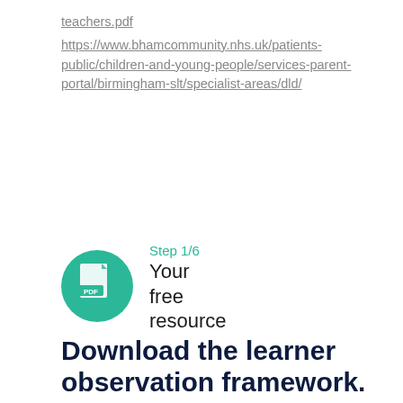teachers.pdf
https://www.bhamcommunity.nhs.uk/patients-public/children-and-young-people/services-parent-portal/birmingham-slt/specialist-areas/dld/
[Figure (illustration): Circular teal/green icon with a PDF document symbol (white page with folded corner and 'PDF' text label)]
Step 1/6
Your free resource
Download the learner observation framework.